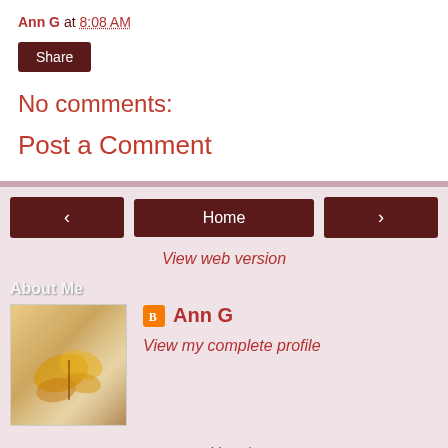Ann G at 8:08 AM
Share
No comments:
Post a Comment
< Home >
View web version
About Me
[Figure (photo): Profile photo showing a golden butterfly or decorative object on a light fabric background]
Ann G
View my complete profile
Powered by Blogger.